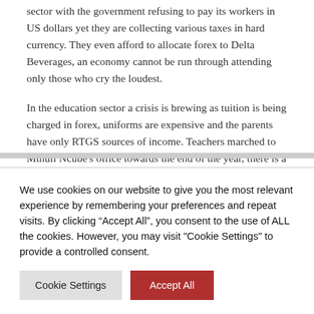sector with the government refusing to pay its workers in US dollars yet they are collecting various taxes in hard currency. They even afford to allocate forex to Delta Beverages, an economy cannot be run through attending only those who cry the loudest.
In the education sector a crisis is brewing as tuition is being charged in forex, uniforms are expensive and the parents have only RTGS sources of income. Teachers marched to Mthuli Ncube's office towards the end of the year, there is a risk they are not returning to work.
We use cookies on our website to give you the most relevant experience by remembering your preferences and repeat visits. By clicking “Accept All”, you consent to the use of ALL the cookies. However, you may visit "Cookie Settings" to provide a controlled consent.